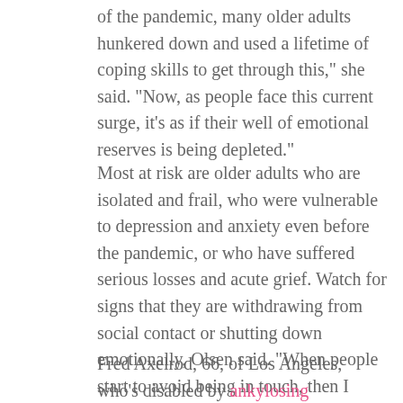of the pandemic, many older adults hunkered down and used a lifetime of coping skills to get through this," she said. "Now, as people face this current surge, it's as if their well of emotional reserves is being depleted."
Most at risk are older adults who are isolated and frail, who were vulnerable to depression and anxiety even before the pandemic, or who have suffered serious losses and acute grief. Watch for signs that they are withdrawing from social contact or shutting down emotionally, Olsen said. "When people start to avoid being in touch, then I become more worried," she said.
Fred Axelrod, 66, of Los Angeles, who's disabled by ankylosing spondylitis, a serious form of arthritis, lost three close friends during the pandemic: Two died